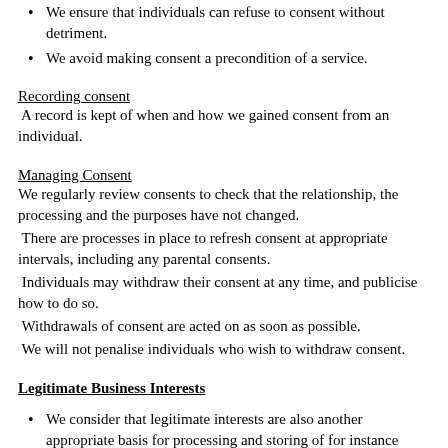We ensure that individuals can refuse to consent without detriment.
We avoid making consent a precondition of a service.
Recording consent
A record is kept of when and how we gained consent from an individual.
Managing Consent
We regularly review consents to check that the relationship, the processing and the purposes have not changed.
There are processes in place to refresh consent at appropriate intervals, including any parental consents.
Individuals may withdraw their consent at any time, and publicise how to do so.
Withdrawals of consent are acted on as soon as possible.
We will not penalise individuals who wish to withdraw consent.
Legitimate Business Interests
We consider that legitimate interests are also another appropriate basis for processing and storing of for instance photographic images.
We acknowledge our responsibility to protect the individual's...